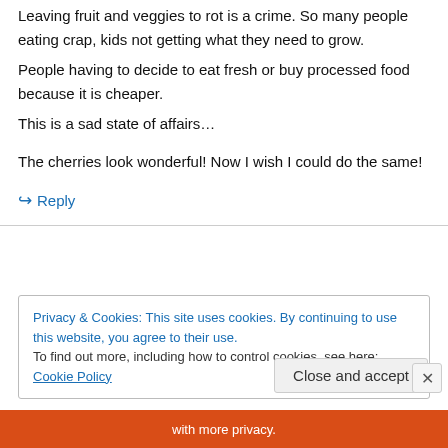Leaving fruit and veggies to rot is a crime. So many people eating crap, kids not getting what they need to grow.
People having to decide to eat fresh or buy processed food because it is cheaper.
This is a sad state of affairs…
The cherries look wonderful! Now I wish I could do the same!
↪ Reply
Privacy & Cookies: This site uses cookies. By continuing to use this website, you agree to their use.
To find out more, including how to control cookies, see here: Cookie Policy
Close and accept